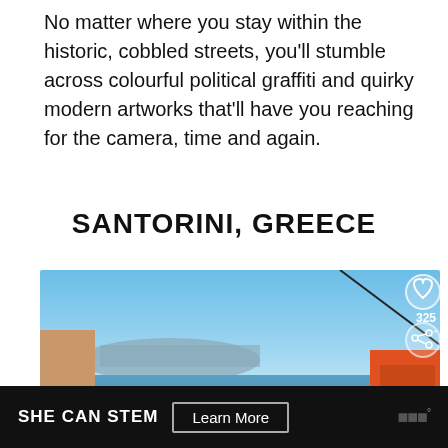No matter where you stay within the historic, cobbled streets, you'll stumble across colourful political graffiti and quirky modern artworks that'll have you reaching for the camera, time and again.
SANTORINI, GREECE
[Figure (photo): Aerial view of Santorini, Greece, showing white-washed buildings with blue domes, yellow structures, the caldera, and the blue Mediterranean sea in the background. UI overlays include a heart/like button, share count (325), a share button, and a 'What's Next' thumbnail card for 'Best Places to Visit in April ...'.]
SHE CAN STEM   Learn More